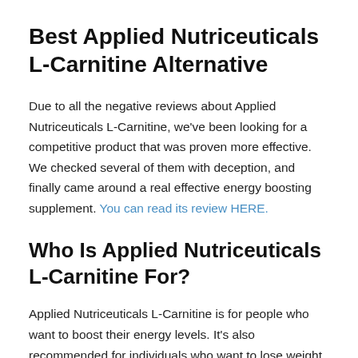Best Applied Nutriceuticals L-Carnitine Alternative
Due to all the negative reviews about Applied Nutriceuticals L-Carnitine, we've been looking for a competitive product that was proven more effective. We checked several of them with deception, and finally came around a real effective energy boosting supplement. You can read its review HERE.
Who Is Applied Nutriceuticals L-Carnitine For?
Applied Nutriceuticals L-Carnitine is for people who want to boost their energy levels. It's also recommended for individuals who want to lose weight.